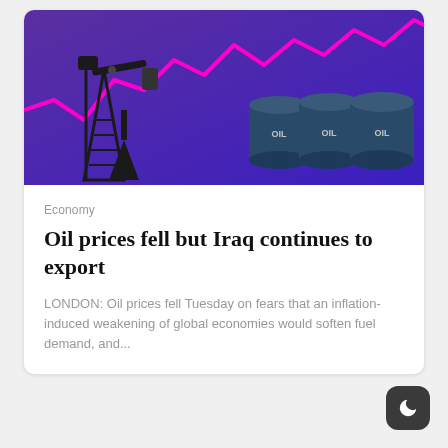[Figure (photo): Photo of oil pump jack model and oil barrels labeled OIL against a purple/blue background with a bright pink rising stock chart line]
Economy
Oil prices fell but Iraq continues to export
LONDON: Oil prices fell Tuesday on fears that an inflation-induced weakening of global economies would soften fuel demand, and...